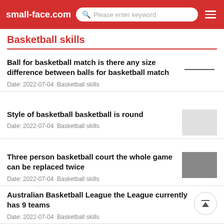small-face.com  Please enter keyword
Basketball skills
Ball for basketball match is there any size difference between balls for basketball match
Date: 2022-07-04  Basketball skills
Style of basketball basketball is round
Date: 2022-07-04  Basketball skills
Three person basketball court the whole game can be replaced twice
Date: 2022-07-04  Basketball skills
Australian Basketball League the League currently has 9 teams
Date: 2022-07-04  Basketball skills
Female basketball commentator does NBA